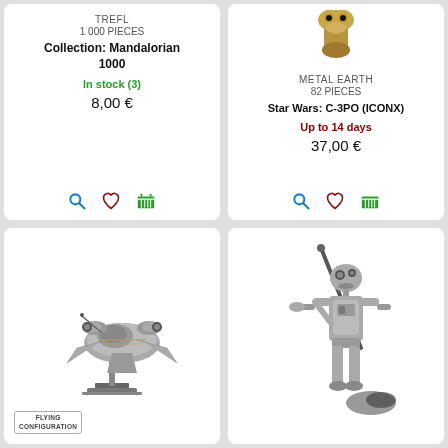TREFL
1 000 PIECES
Collection: Mandalorian 1000
In stock (3)
8,00 €
METAL EARTH
82 PIECES
Star Wars: C-3PO (ICONX)
Up to 14 days
37,00 €
[Figure (photo): Silver metallic Razor Crest spaceship model on a stand, labelled Flying Configuration]
[Figure (photo): Silver metallic robotic bounty hunter figure holding a staff]